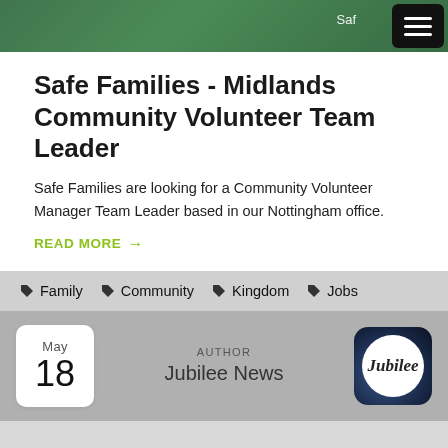[Figure (screenshot): Top navigation bar with green background photo strip and hamburger menu button in top right corner. Text 'Saf' partially visible.]
Safe Families - Midlands Community Volunteer Team Leader
Safe Families are looking for a Community Volunteer Manager Team Leader based in our Nottingham office.
READ MORE →
🏷 Family   🏷 Community   🏷 Kingdom   🏷 Jobs
May 18 | AUTHOR Jubilee News
[Figure (logo): Jubilee church logo - circular white logo with cursive 'Jubilee' text on dark starry background, rounded square frame]
[Figure (logo): Blue footer bar with Jubilee circular white logo]